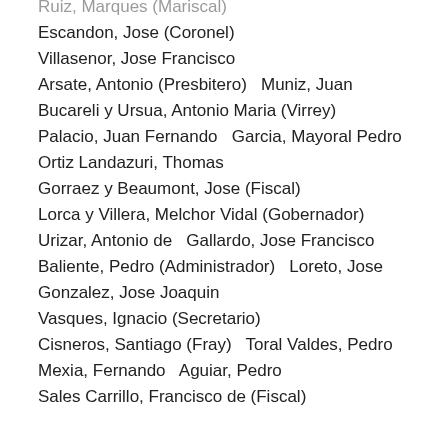Ruiz, Marques (Mariscal)
Escandon, Jose (Coronel)
Villasenor, Jose Francisco
Arsate, Antonio (Presbitero)   Muniz, Juan
Bucareli y Ursua, Antonio Maria (Virrey)
Palacio, Juan Fernando   Garcia, Mayoral Pedro
Ortiz Landazuri, Thomas
Gorraez y Beaumont, Jose (Fiscal)
Lorca y Villera, Melchor Vidal (Gobernador)
Urizar, Antonio de   Gallardo, Jose Francisco
Baliente, Pedro (Administrador)   Loreto, Jose
Gonzalez, Jose Joaquin
Vasques, Ignacio (Secretario)
Cisneros, Santiago (Fray)   Toral Valdes, Pedro
Mexia, Fernando   Aguiar, Pedro
Sales Carrillo, Francisco de (Fiscal)